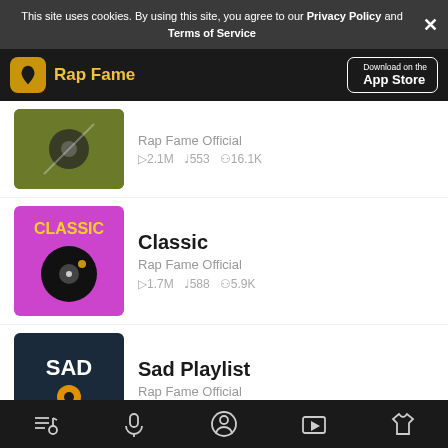This site uses cookies. By using this site, you agree to our Privacy Policy and Terms of Service
Rap Fame — Download on the App Store
Rap Fame Official — ▷2.1M  ♩553  ⁋16.1K
Classic — Rap Fame Official — ▷1.7M  ♩588  ⁋5.9K
Sad Playlist — Rap Fame Official — ▷441.7K  ♩79  ⁋5.2K
Best Rookies — Rap Fame Official — ▷1.6M  ♩1.2K  ⁋6.4K
Bottom navigation bar with icons: playlist, microphone, user, video, shirt